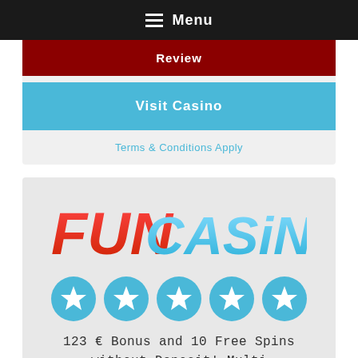Menu
Review
Visit Casino
Terms & Conditions Apply
[Figure (logo): Fun Casino logo with FUN in red italic and CASINO in blue italic]
[Figure (infographic): Five blue star rating circles in a row]
123 € Bonus and 10 Free Spins without Deposit! Multi Software, Slots, Poker, Scratch